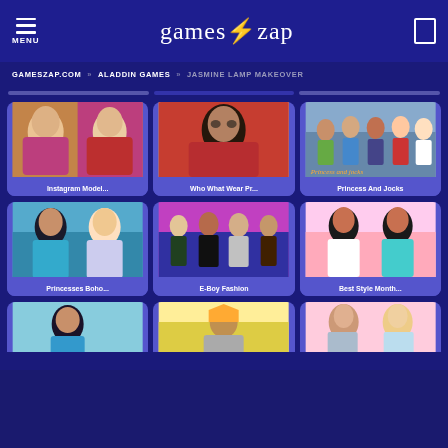MENU | gameszap | [search icon]
GAMESZAP.COM » ALADDIN GAMES » JASMINE LAMP MAKEOVER
[Figure (screenshot): Instagram Model game thumbnail - two stylish female cartoon characters]
Instagram Model...
[Figure (screenshot): Who What Wear Pr... game thumbnail - stylish girl with sunglasses and curly hair]
Who What Wear Pr...
[Figure (screenshot): Princess And Jocks game thumbnail - group of cartoon teen characters]
Princess And Jocks
[Figure (screenshot): Princesses Boho... game thumbnail - two cartoon princess characters]
Princesses Boho...
[Figure (screenshot): E-Boy Fashion game thumbnail - group of stylish e-boy characters]
E-Boy Fashion
[Figure (screenshot): Best Style Month... game thumbnail - two Jasmine-like cartoon characters]
Best Style Month...
[Figure (screenshot): Partial thumbnail 1 - Jasmine cartoon character]
[Figure (screenshot): Partial thumbnail 2 - cartoon scene]
[Figure (screenshot): Partial thumbnail 3 - cartoon girl characters]